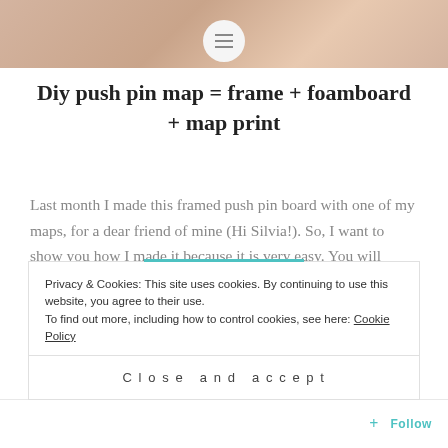[Figure (photo): Top banner photo showing a warm beige/tan surface, likely a wooden or fabric background with a circular menu icon overlay]
Diy push pin map = frame + foamboard + map print
Last month I made this framed push pin board with one of my maps, for a dear friend of mine (Hi Silvia!). So, I want to show you how I made it because it is very easy. You will need: A map print / or a printable map. The one shown is available as printable...
Privacy & Cookies: This site uses cookies. By continuing to use this website, you agree to their use.
To find out more, including how to control cookies, see here: Cookie Policy
Close and accept